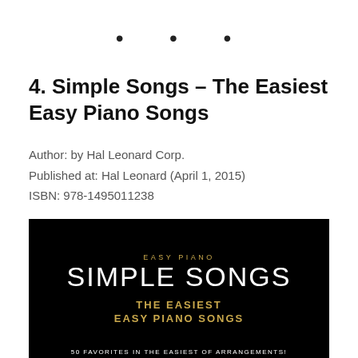• • •
4. Simple Songs – The Easiest Easy Piano Songs
Author: by Hal Leonard Corp.
Published at: Hal Leonard (April 1, 2015)
ISBN: 978-1495011238
[Figure (illustration): Book cover for 'Simple Songs – The Easiest Easy Piano Songs' by Hal Leonard. Black background with 'EASY PIANO' in gold at top, 'SIMPLE SONGS' in large white text, 'THE EASIEST EASY PIANO SONGS' in gold below, and '50 FAVORITES IN THE EASIEST OF ARRANGEMENTS!' in white at the bottom.]